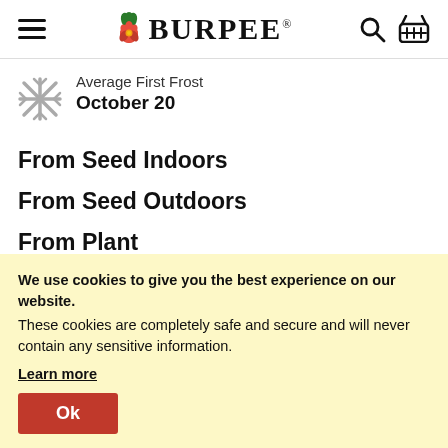Burpee
Average First Frost
October 20
From Seed Indoors
From Seed Outdoors
From Plant
We use cookies to give you the best experience on our website. These cookies are completely safe and secure and will never contain any sensitive information.
Learn more
Ok